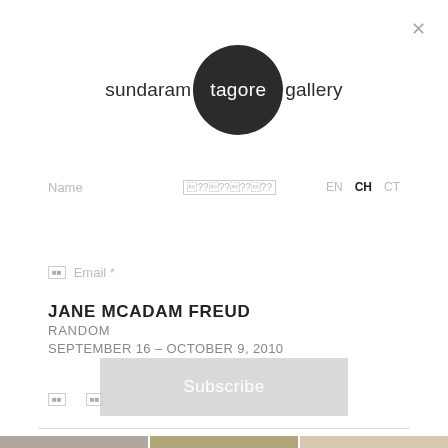[Figure (logo): Sundaram Tagore Gallery logo: text with dark circle around 'tagore']
Name     [Chinese characters]     EN  CH  CT
Email *
JANE MCADAM FREUD
RANDOM
SEPTEMBER 16 – OCTOBER 9, 2010
Subscribe
[Figure (photo): Three thumbnail images at the bottom of the page showing gallery exhibition photos]